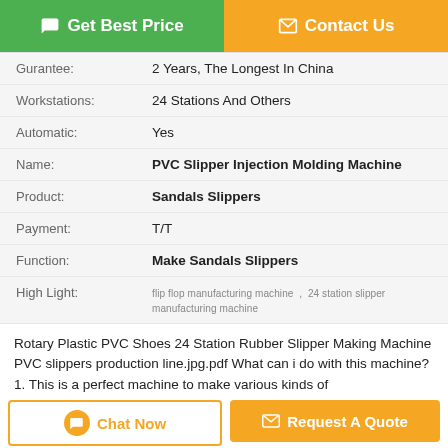[Figure (other): Get Best Price and Contact Us buttons at top]
| Field | Value |
| --- | --- |
| Gurantee: | 2 Years, The Longest In China |
| Workstations: | 24 Stations And Others |
| Automatic: | Yes |
| Name: | PVC Slipper Injection Molding Machine |
| Product: | Sandals Slippers |
| Payment: | T/T |
| Function: | Make Sandals Slippers |
| High Light: | flip flop manufacturing machine ,  24 station slipper manufacturing machine |
Rotary Plastic PVC Shoes 24 Station Rubber Slipper Making Machine PVC slippers production line.jpg.pdf What can i do with this machine? 1. This is a perfect machine to make various kinds of slippers,sandals...
Tags: flip flop making machine , slipper manufacturing machine , slipper chappal machine
Product Description >
[Figure (other): Chat Now and Request A Quote buttons at bottom]